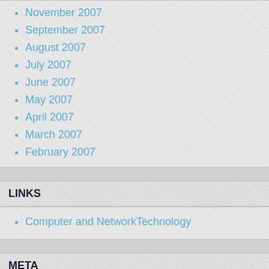November 2007
September 2007
August 2007
July 2007
June 2007
May 2007
April 2007
March 2007
February 2007
LINKS
Computer and NetworkTechnology
META
Log in